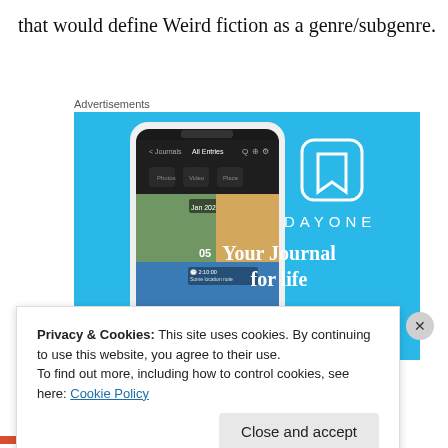that would define Weird fiction as a genre/subgenre.
Advertisements
[Figure (screenshot): DayOne app advertisement on a light blue background showing a smartphone with the DayOne journal app interface. Text reads: DAYONE - Your Journal for life]
Privacy & Cookies: This site uses cookies. By continuing to use this website, you agree to their use.
To find out more, including how to control cookies, see here: Cookie Policy
Close and accept